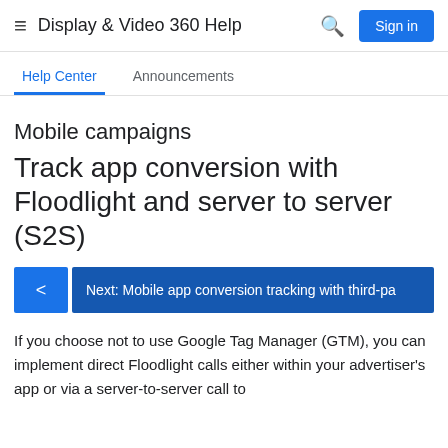Display & Video 360 Help   Sign in
Help Center   Announcements
Mobile campaigns
Track app conversion with Floodlight and server to server (S2S)
< Next: Mobile app conversion tracking with third-pa
If you choose not to use Google Tag Manager (GTM), you can implement direct Floodlight calls either within your advertiser's app or via a server-to-server call to